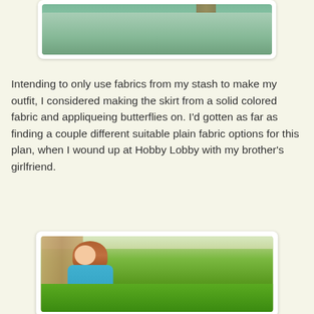[Figure (photo): Partial photo of a woman wearing a teal/green skirt, cropped showing mostly the skirt area, with a tree trunk visible in the background.]
Intending to only use fabrics from my stash to make my outfit, I considered making the skirt from a solid colored fabric and appliqueing butterflies on. I'd gotten as far as finding a couple different suitable plain fabric options for this plan, when I wound up at Hobby Lobby with my brother's girlfriend.
[Figure (photo): Photo of a young woman with long reddish-brown braided hair, wearing a blue/teal short-sleeved top and a green patterned skirt, sitting outside on green grass with trees in the background.]